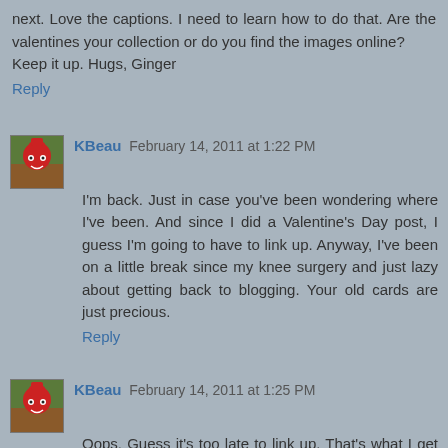next. Love the captions. I need to learn how to do that. Are the valentines your collection or do you find the images online?
Keep it up. Hugs, Ginger
Reply
KBeau  February 14, 2011 at 1:22 PM
I'm back. Just in case you've been wondering where I've been. And since I did a Valentine's Day post, I guess I'm going to have to link up. Anyway, I've been on a little break since my knee surgery and just lazy about getting back to blogging. Your old cards are just precious.
Reply
KBeau  February 14, 2011 at 1:25 PM
Oops. Guess it's too late to link up. That's what I get for being late to the party. Happy Valentine's Day.
Reply